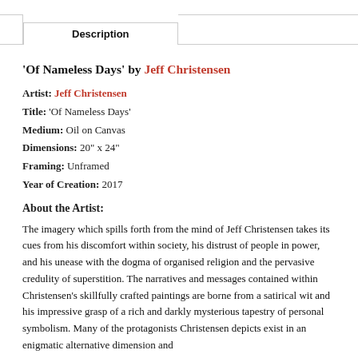Description
'Of Nameless Days' by Jeff Christensen
Artist: Jeff Christensen
Title: 'Of Nameless Days'
Medium: Oil on Canvas
Dimensions: 20" x 24"
Framing: Unframed
Year of Creation: 2017
About the Artist:
The imagery which spills forth from the mind of Jeff Christensen takes its cues from his discomfort within society, his distrust of people in power, and his unease with the dogma of organised religion and the pervasive credulity of superstition. The narratives and messages contained within Christensen's skillfully crafted paintings are borne from a satirical wit and his impressive grasp of a rich and darkly mysterious tapestry of personal symbolism. Many of the protagonists Christensen depicts exist in an enigmatic alternative dimension and